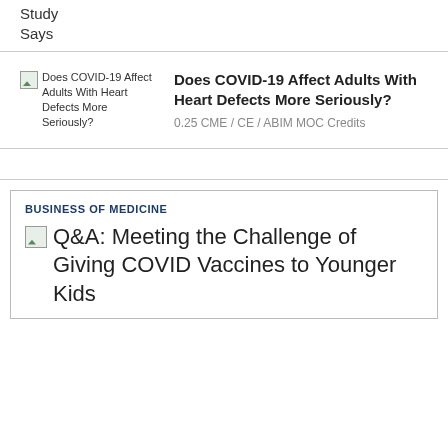Study Says
Does COVID-19 Affect Adults With Heart Defects More Seriously?
0.25 CME / CE / ABIM MOC Credits
BUSINESS OF MEDICINE
Q&A: Meeting the Challenge of Giving COVID Vaccines to Younger Kids